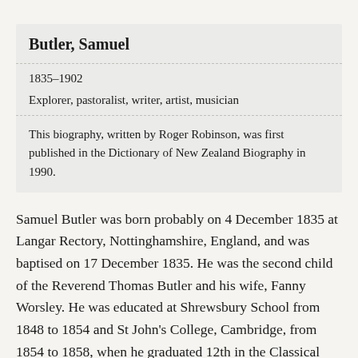Butler, Samuel
1835–1902
Explorer, pastoralist, writer, artist, musician
This biography, written by Roger Robinson, was first published in the Dictionary of New Zealand Biography in 1990.
Samuel Butler was born probably on 4 December 1835 at Langar Rectory, Nottinghamshire, England, and was baptised on 17 December 1835. He was the second child of the Reverend Thomas Butler and his wife, Fanny Worsley. He was educated at Shrewsbury School from 1848 to 1854 and St John's College, Cambridge, from 1854 to 1858, when he graduated 12th in the Classical tripos, with first-class honours. But his impulse to escape the constraints of the church, education, law and the patriarchal family led him to